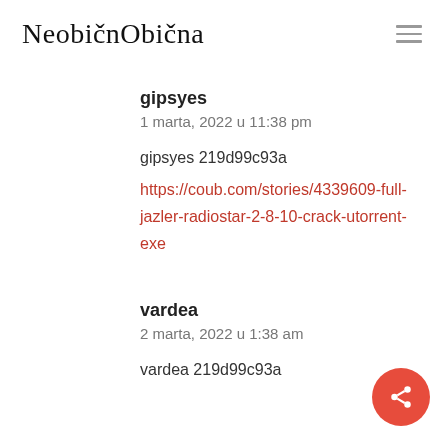NeobičnObična
gipsyes
1 marta, 2022 u 11:38 pm
gipsyes 219d99c93a https://coub.com/stories/4339609-full-jazler-radiostar-2-8-10-crack-utorrent-exe
vardea
2 marta, 2022 u 1:38 am
vardea 219d99c93a